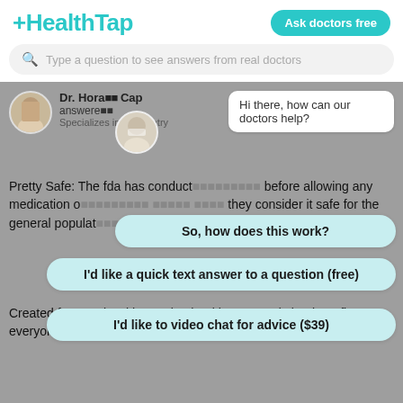[Figure (screenshot): HealthTap logo in teal with plus sign prefix]
Ask doctors free
Type a question to see answers from real doctors
[Figure (photo): Doctor avatar photo - Dr. Hora... Cap...]
Dr. Hora...  Cap...
answered...
Specializes in Psychiatry
Hi there, how can our doctors help?
Pretty Safe: The fda has conduct... before allowing any medication on the market. That means they consider it safe for the general populat... Read More
So, how does this work?
I'd like a quick text answer to a question (free)
Created for people with ongoing healthcare needs but benefits everyone.
I'd like to video chat for advice ($39)
Learn how we can help
5.7k views   Answered >2
Thank